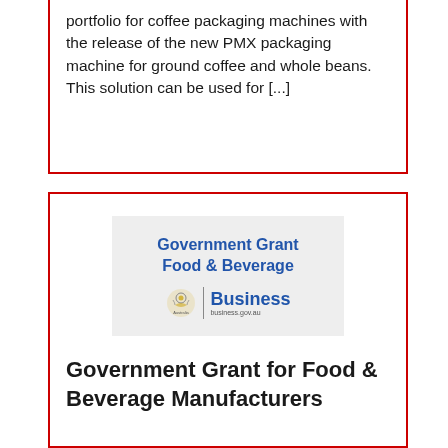portfolio for coffee packaging machines with the release of the new PMX packaging machine for ground coffee and whole beans. This solution can be used for [...]
[Figure (illustration): Government Grant Food & Beverage banner with Australian Government Business logo. Light grey background with blue bold text reading 'Government Grant Food & Beverage' and Australian Government crest with 'Business business.gov.au' text.]
Government Grant for Food & Beverage Manufacturers